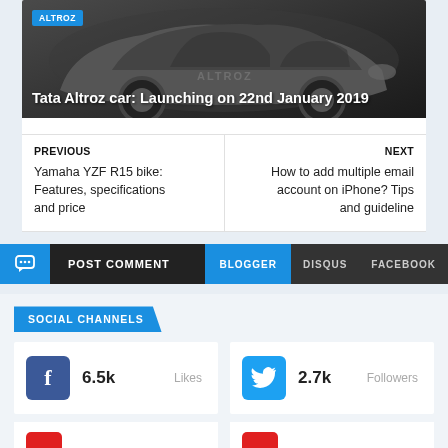[Figure (photo): Tata Altroz car front view on dark background with ALTROZ badge label and title overlay]
Tata Altroz car: Launching on 22nd January 2019
PREVIOUS
Yamaha YZF R15 bike: Features, specifications and price
NEXT
How to add multiple email account on iPhone? Tips and guideline
POST COMMENT   BLOGGER   DISQUS   FACEBOOK
SOCIAL CHANNELS
6.5k   Likes
2.7k   Followers